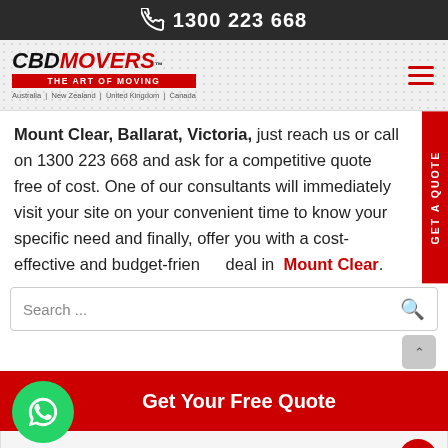1300 223 668
[Figure (logo): CBD Movers logo with tagline 'THE ART OF MOVING' and countries: Australia | New Zealand | United Kingdom | Canada]
Mount Clear, Ballarat, Victoria, just reach us or call on 1300 223 668 and ask for a competitive quote free of cost. One of our consultants will immediately visit your site on your convenient time to know your specific need and finally, offer you with a cost-effective and budget-friendly deal in Mount Clear.
Search ...
Get Your Free Quote
Name